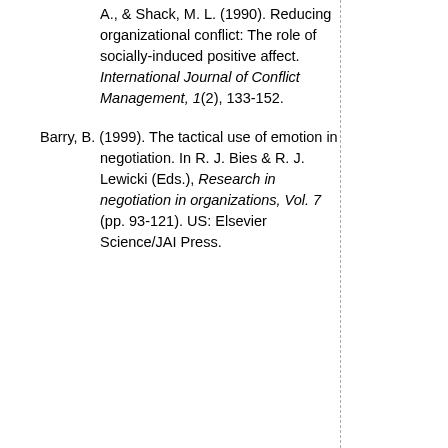A., & Shack, M. L. (1990). Reducing organizational conflict: The role of socially-induced positive affect. International Journal of Conflict Management, 1(2), 133-152.
Barry, B. (1999). The tactical use of emotion in negotiation. In R. J. Bies & R. J. Lewicki (Eds.), Research in negotiation in organizations, Vol. 7 (pp. 93-121). US: Elsevier Science/JAI Press.